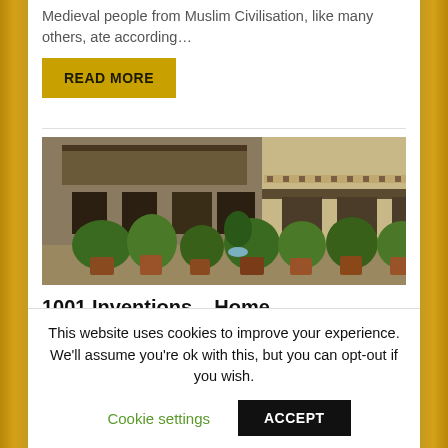Medieval people from Muslim Civilisation, like many others, ate according…
READ MORE
[Figure (photo): Courtyard of a historic Middle Eastern building with potted plants, stone walls, wooden balconies, and arched windows.]
1001 Inventions – Home
The Home chapter includes some of the thousand-year-old inventions that…
This website uses cookies to improve your experience. We'll assume you're ok with this, but you can opt-out if you wish.
Cookie settings    ACCEPT